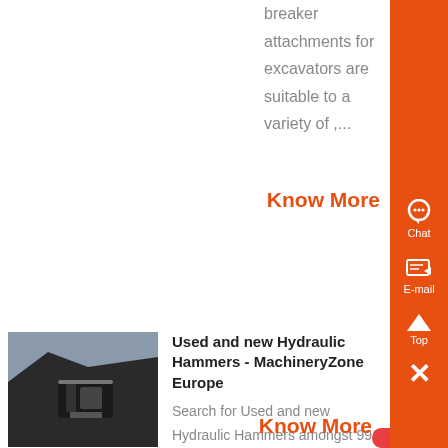breaker attachments for excavators are suitable to a variety of ,...
Know More
[Figure (photo): Black and white photo of a hydraulic hammer / construction equipment attachment on excavator]
Used and new Hydraulic Hammers - MachineryZone Europe
Search for Used and new Hydraulic Hammers amongst 991 ads updated daily on MachineryZone, the leading european platform to buy and sell construction equipment...
Know More